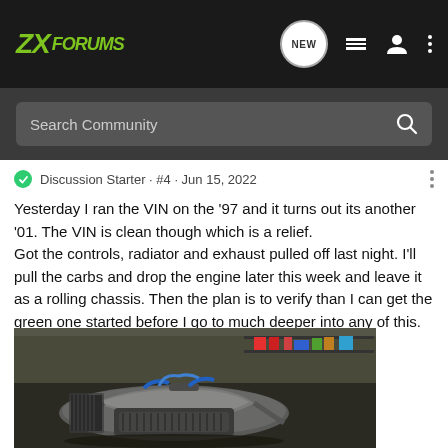ZXForums navigation bar with logo, NEW button, list icon, user icon, and more options
Search Community
Discussion Starter · #4 · Jun 15, 2022
Yesterday I ran the VIN on the '97 and it turns out its another '01. The VIN is clean though which is a relief.
Got the controls, radiator and exhaust pulled off last night. I'll pull the carbs and drop the engine later this week and leave it as a rolling chassis. Then the plan is to verify than I can get the green one started before I go to much deeper into any of this.
[Figure (photo): Photo of a motorcycle being disassembled in a garage, showing the engine and frame components]